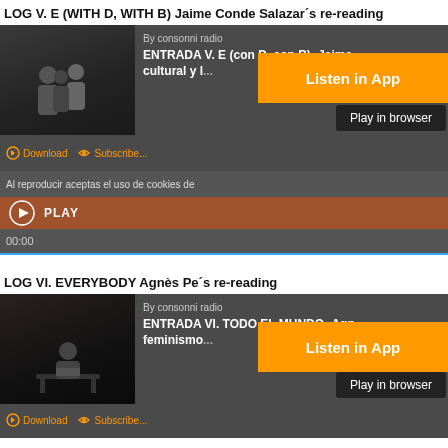LOG V. E (WITH D, WITH B) Jaime Conde Salazar´s re-reading
[Figure (screenshot): Podcast player widget showing episode ENTRADA V. E (con D, con B) -Jaime... cultural y... by consonni radio, with orange Listen in App button, dark Play in browser button, Download and Subscribe actions, cookie notice, brown PLAY bar with timer 00:00, and blue progress line.]
LOG VI. EVERYBODY Agnès Pe´s re-reading
[Figure (screenshot): Podcast player widget showing episode ENTRADA VI. TODO EL MUNDO -Agn... feminismo... by consonni radio, with orange Listen in App button, dark Play in browser button, Download and Subscribe actions.]